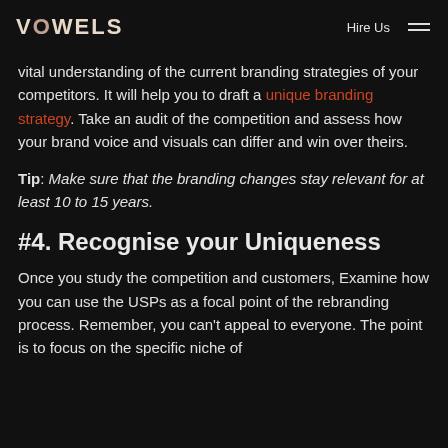VOWELS | Hire Us
vital understanding of the current branding strategies of your competitors. It will help you to draft a unique branding strategy. Take an audit of the competition and assess how your brand voice and visuals can differ and win over theirs.
Tip: Make sure that the branding changes stay relevant for at least 10 to 15 years.
#4. Recognise your Uniqueness
Once you study the competition and customers, Examine how you can use the USPs as a focal point of the rebranding process. Remember, you can't appeal to everyone. The point is to focus on the specific niche of